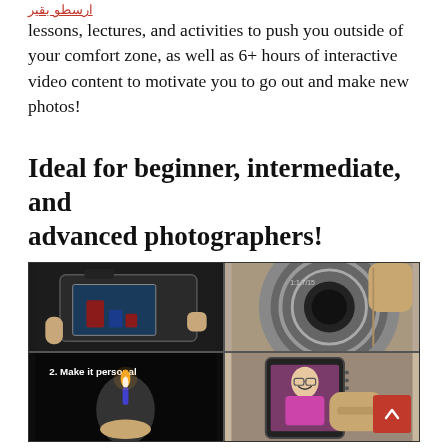lessons, lectures, and activities to push you outside of your comfort zone, as well as 6+ hours of interactive video content to motivate you to go out and make new photos!
Ideal for beginner, intermediate, and advanced photographers!
[Figure (photo): A 2x2 collage of photography-related images: top-left shows a mirrorless camera screen displaying colored cups; top-right shows a close-up of a silver camera lens; bottom-left shows a dark image with text '2. Make it personal' and a woman holding a candle; bottom-right shows a smartphone displaying a smiling woman in a pink top, held by a hand.]